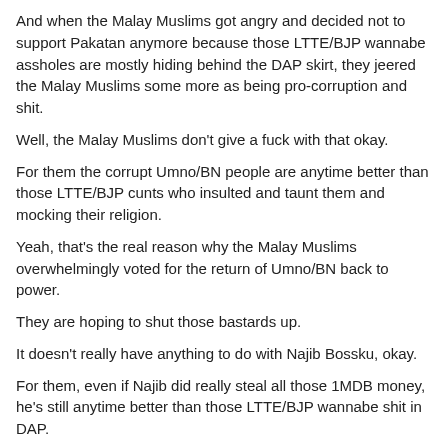And when the Malay Muslims got angry and decided not to support Pakatan anymore because those LTTE/BJP wannabe assholes are mostly hiding behind the DAP skirt, they jeered the Malay Muslims some more as being pro-corruption and shit.
Well, the Malay Muslims don't give a fuck with that okay.
For them the corrupt Umno/BN people are anytime better than those LTTE/BJP cunts who insulted and taunt them and mocking their religion.
Yeah, that's the real reason why the Malay Muslims overwhelmingly voted for the return of Umno/BN back to power.
They are hoping to shut those bastards up.
It doesn't really have anything to do with Najib Bossku, okay.
For them, even if Najib did really steal all those 1MDB money, he's still anytime better than those LTTE/BJP wannabe shit in DAP.